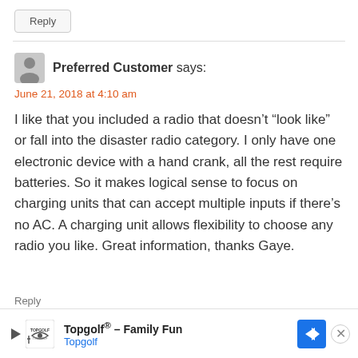Reply
Preferred Customer says:
June 21, 2018 at 4:10 am
I like that you included a radio that doesn’t “look like” or fall into the disaster radio category. I only have one electronic device with a hand crank, all the rest require batteries. So it makes logical sense to focus on charging units that can accept multiple inputs if there’s no AC. A charging unit allows flexibility to choose any radio you like. Great information, thanks Gaye.
[Figure (infographic): Topgolf advertisement banner with logo, navigation arrow icon, play button, and close button. Text reads: Topgolf® – Family Fun, Topgolf]